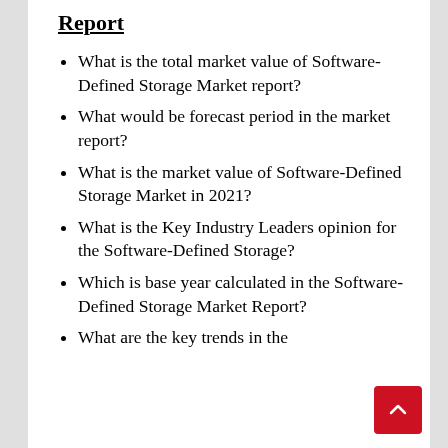Report
What is the total market value of Software-Defined Storage Market report?
What would be forecast period in the market report?
What is the market value of Software-Defined Storage Market in 2021?
What is the Key Industry Leaders opinion for the Software-Defined Storage?
Which is base year calculated in the Software-Defined Storage Market Report?
What are the key trends in the